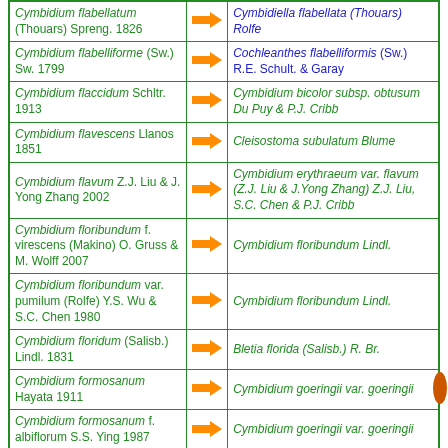| Synonym |  | Accepted Name |
| --- | --- | --- |
| Cymbidium flabellatum (Thouars) Spreng. 1826 | → | Cymbidiella flabellata (Thouars) Rolfe |
| Cymbidium flabelliforme (Sw.) Sw. 1799 | → | Cochleanthes flabelliformis (Sw.) R.E. Schult. & Garay |
| Cymbidium flaccidum Schltr. 1913 | → | Cymbidium bicolor subsp. obtusum Du Puy & P.J. Cribb |
| Cymbidium flavescens Llanos 1851 | → | Cleisostoma subulatum Blume |
| Cymbidium flavum Z.J. Liu & J. Yong Zhang 2002 | → | Cymbidium erythraeum var. flavum (Z.J. Liu & J.Yong Zhang) Z.J. Liu, S.C. Chen & P.J. Cribb |
| Cymbidium floribundum f. virescens (Makino) O. Gruss & M. Wolff 2007 | → | Cymbidium floribundum Lindl. |
| Cymbidium floribundum var. pumilum (Rolfe) Y.S. Wu & S.C. Chen 1980 | → | Cymbidium floribundum Lindl. |
| Cymbidium floridum (Salisb.) Lindl. 1831 | → | Bletia florida (Salisb.) R. Br. |
| Cymbidium formosanum Hayata 1911 | → | Cymbidium goeringii var. goeringii |
| Cymbidium formosanum f. albiflorum S.S. Ying 1987 | → | Cymbidium goeringii var. goeringii |
| Cymbidium formosanum var. gracillimum (Fukuy.) T.S. Liu & H.J. Su 1978 | → | Cymbidium serratum Schltr. |
| Cymbidium forrestii Rolfe 1913 | → | Cymbidium goeringii var. goeringii |